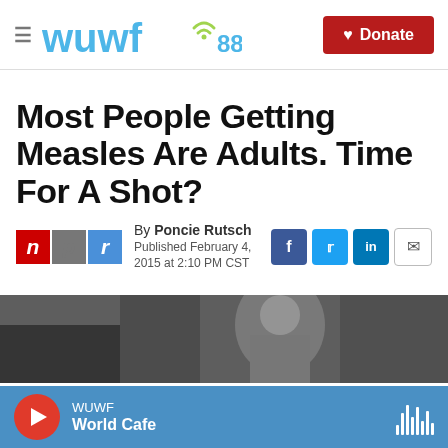WUWF 88.1  Donate
Most People Getting Measles Are Adults. Time For A Shot?
By Poncie Rutsch
Published February 4, 2015 at 2:10 PM CST
[Figure (photo): Black and white photo of a medical/indoor scene]
WUWF  World Cafe